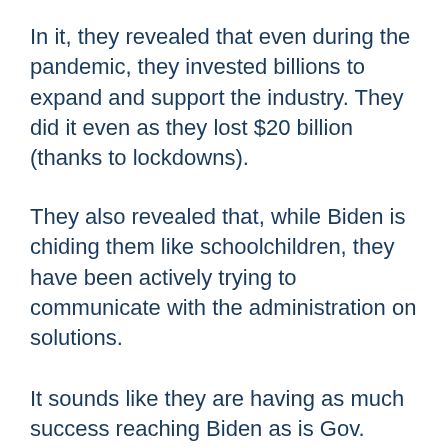In it, they revealed that even during the pandemic, they invested billions to expand and support the industry. They did it even as they lost $20 billion (thanks to lockdowns).
They also revealed that, while Biden is chiding them like schoolchildren, they have been actively trying to communicate with the administration on solutions.
It sounds like they are having as much success reaching Biden as is Gov. Greg Abbott of Texas.
ExxonMobil threw the blame back to where it belonged, Joe Biden. They wrote that the real solution to the gas problem is that Biden...